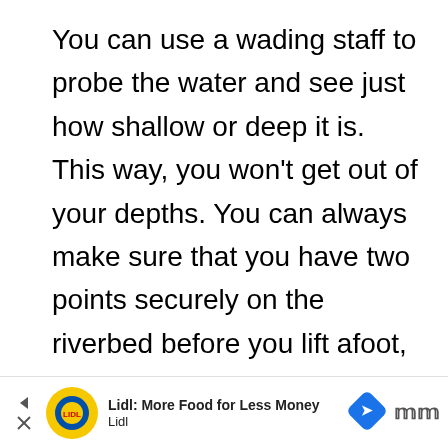You can use a wading staff to probe the water and see just how shallow or deep it is. This way, you won't get out of your depths. You can always make sure that you have two points securely on the riverbed before you lift afoot, so you're never left balancing on just one wading boot while you search for a safe place to step.
When you have a wading staff you can
[Figure (other): Advertisement banner: Lidl: More Food for Less Money — Lidl logo with yellow circle, navigation arrow icons, and Moovit app logo]